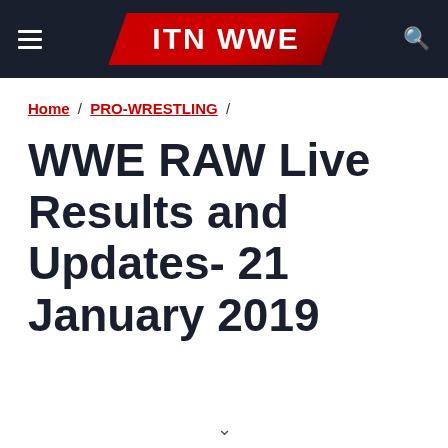ITN WWE
Home / PRO-WRESTLING /
WWE RAW Live Results and Updates- 21 January 2019